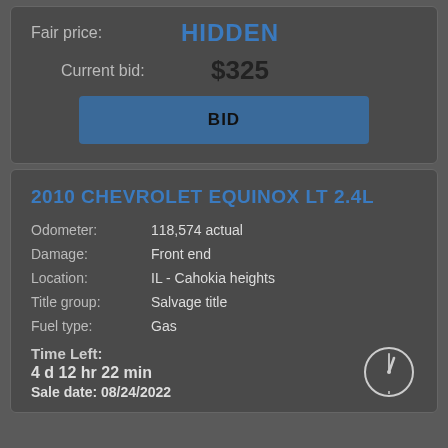Fair price: HIDDEN
Current bid: $325
BID
2010 CHEVROLET EQUINOX LT 2.4L
Odometer: 118,574 actual
Damage: Front end
Location: IL - Cahokia heights
Title group: Salvage title
Fuel type: Gas
Time Left: 4 d 12 hr 22 min
Sale date: 08/24/2022